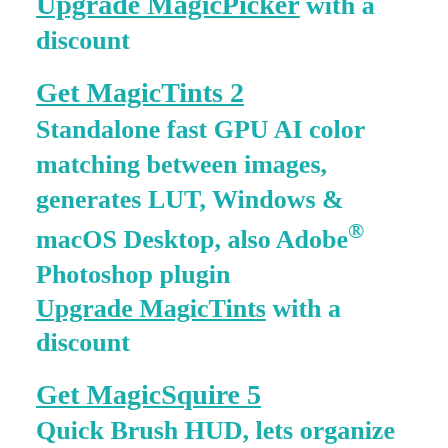Upgrade MagicPicker with a discount
Get MagicTints 2
Standalone fast GPU AI color matching between images, generates LUT, Windows & macOS Desktop, also Adobe® Photoshop plugin
Upgrade MagicTints with a discount
Get MagicSquire 5
Quick Brush HUD, lets organize brushes in colorful groups, controls Photoshop brush values
Upgrade MagicSquire with a discount
Get MixColors 4
Extracts palette from image, groups Photoshop